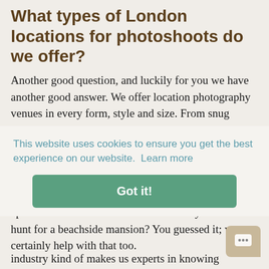What types of London locations for photoshoots do we offer?
Another good question, and luckily for you we have another good answer. We offer location photography venues in every form, style and size. From snug coastal beach huts to ginormous country estates complete with their own lake, stables and out buildings to everything in between. From the weird to the wonderful, we have it. Need a gothic asylum? We've got one. Looking for an ultra slick city apartment? Got lots of those too. Or are you on the hunt for a beachside mansion? You guessed it; we can certainly help with that too.
This website uses cookies to ensure you get the best experience on our website. Learn more
Got it!
o find our
industry kind of makes us experts in knowing exactly